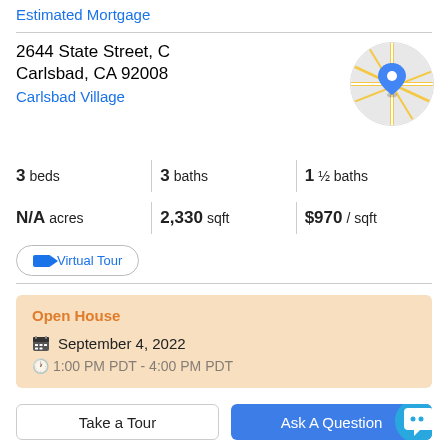Estimated Mortgage
2644 State Street, C
Carlsbad, CA 92008
Carlsbad Village
[Figure (map): Circular map thumbnail showing street map with blue location pin marker]
3 beds | 3 baths | 1 ½ baths | N/A acres | 2,330 sqft | $970 / sqft
Virtual Tour
Open House
September 4, 2022
1:00 PM PDT - 4:00 PM PDT
Take a Tour
Ask A Question